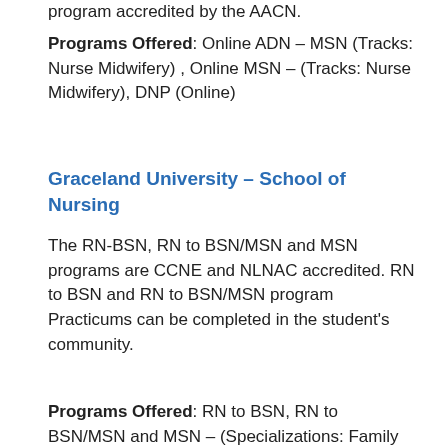program accredited by the AACN.
Programs Offered: Online ADN – MSN (Tracks: Nurse Midwifery) , Online MSN – (Tracks: Nurse Midwifery), DNP (Online)
Graceland University – School of Nursing
The RN-BSN, RN to BSN/MSN and MSN programs are CCNE and NLNAC accredited. RN to BSN and RN to BSN/MSN program Practicums can be completed in the student's community.
Programs Offered: RN to BSN, RN to BSN/MSN and MSN – (Specializations: Family Nurse Practitioner, Nurse Educator), Post-Graduate Certificate (Specializations: Family Nurse Practitioner, Nurse Education), Doctor of